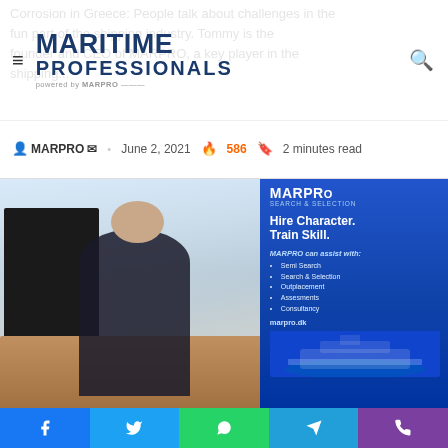MARITIME PROFESSIONALS powered by MARPRO
MARPRO · June 2, 2021 · 586 · 2 minutes read
[Figure (photo): A man in a black turtleneck sweater sits at a desk in an office, with a computer monitor to his left and a MARPRO Search & Selection banner behind him. The banner reads: Hire Character. Train Skill. MARPRO can assist with: Semi Search, Search & Selection, Outplacement, Assessments, Consultancy. marpro.dk]
Share buttons: Facebook, Twitter, WhatsApp, Telegram, Phone